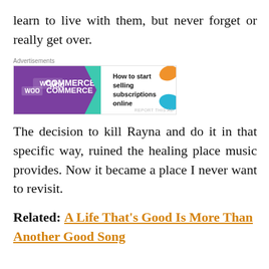learn to live with them, but never forget or really get over.
[Figure (other): WooCommerce advertisement banner: purple left panel with WooCommerce logo, teal arrow shape, white right panel with text 'How to start selling subscriptions online', orange and teal decorative shapes. Label 'Advertisements' above. 'REPORT THIS AD' text at bottom right.]
The decision to kill Rayna and do it in that specific way, ruined the healing place music provides. Now it became a place I never want to revisit.
Related: A Life That’s Good Is More Than Another Good Song